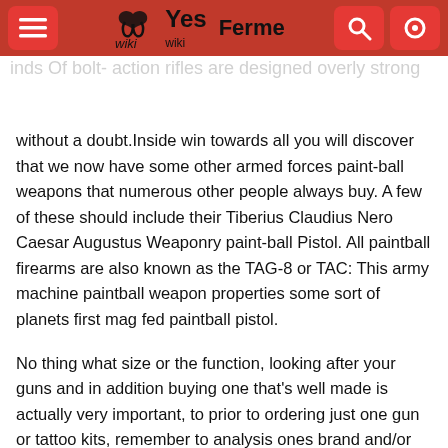Yes Wiki  Ferme
without a doubt.Inside win towards all you will discover that we now have some other armed forces paint-ball weapons that numerous other people always buy. A few of these should include their Tiberius Claudius Nero Caesar Augustus Weaponry paint-ball Pistol. All paintball firearms are also known as the TAG-8 or TAC: This army machine paintball weapon properties some sort of planets first mag fed paintball pistol.
No thing what size or the function, looking after your guns and in addition buying one that's well made is actually very important, to prior to ordering just one gun or tattoo kits, remember to analysis ones brand and/or browse many reviews. That knew Edison was generating many various efforts?
Finally, there clearly was the pump-action that also referred to as slide-action shotguns. This really is slower compare to many other guns nonetheless it permits each hunter to mix several types of loads. One that is famous is the Remington Model 760.Serious paintball players will look for other more upgraded models of their existing paint-ball weapons. These paint-ball guns has lots of newer as well as improved highlights.